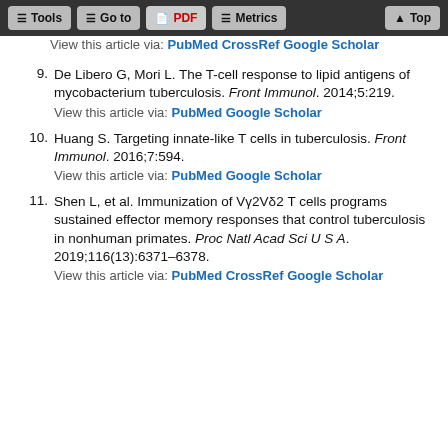Tools | Go to | PDF | Metrics | Top
View this article via: PubMed CrossRef Google Scholar
9. De Libero G, Mori L. The T-cell response to lipid antigens of mycobacterium tuberculosis. Front Immunol. 2014;5:219. View this article via: PubMed Google Scholar
10. Huang S. Targeting innate-like T cells in tuberculosis. Front Immunol. 2016;7:594. View this article via: PubMed Google Scholar
11. Shen L, et al. Immunization of Vγ2Vδ2 T cells programs sustained effector memory responses that control tuberculosis in nonhuman primates. Proc Natl Acad Sci U S A. 2019;116(13):6371–6378. View this article via: PubMed CrossRef Google Scholar